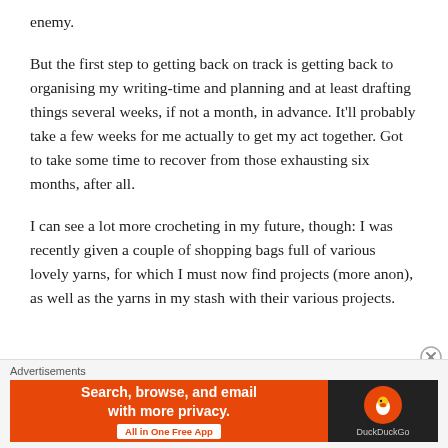enemy.
But the first step to getting back on track is getting back to organising my writing-time and planning and at least drafting things several weeks, if not a month, in advance. It'll probably take a few weeks for me actually to get my act together. Got to take some time to recover from those exhausting six months, after all.
I can see a lot more crocheting in my future, though: I was recently given a couple of shopping bags full of various lovely yarns, for which I must now find projects (more anon), as well as the yarns in my stash with their various projects.
Advertisements
[Figure (screenshot): DuckDuckGo advertisement banner: orange left panel with white bold text 'Search, browse, and email with more privacy.' and a white button 'All in One Free App'; dark right panel with DuckDuckGo logo and name.]